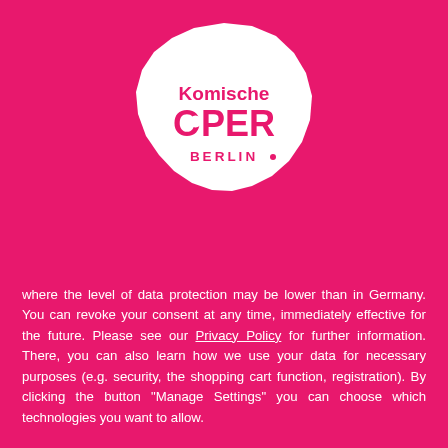[Figure (logo): Komische Oper Berlin logo: white irregular polygon/blob shape containing the text 'Komische OPER BERLIN.' in magenta/pink color]
where the level of data protection may be lower than in Germany. You can revoke your consent at any time, immediately effective for the future. Please see our Privacy Policy for further information. There, you can also learn how we use your data for necessary purposes (e.g. security, the shopping cart function, registration). By clicking the button "Manage Settings" you can choose which technologies you want to allow.